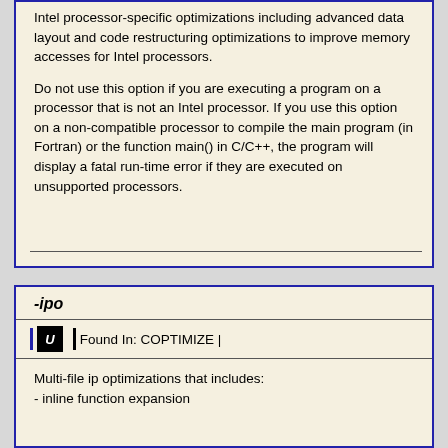Intel processor-specific optimizations including advanced data layout and code restructuring optimizations to improve memory accesses for Intel processors.

Do not use this option if you are executing a program on a processor that is not an Intel processor. If you use this option on a non-compatible processor to compile the main program (in Fortran) or the function main() in C/C++, the program will display a fatal run-time error if they are executed on unsupported processors.
-ipo
Found In: COPTIMIZE
Multi-file ip optimizations that includes:
- inline function expansion